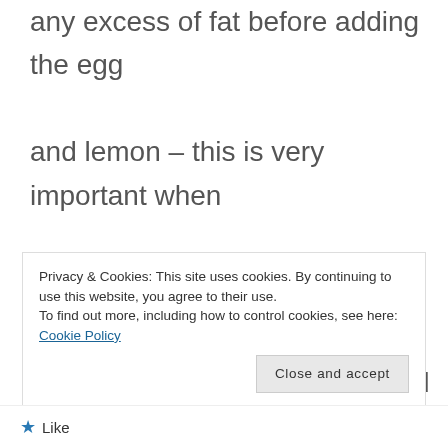any excess of fat before adding the egg and lemon – this is very important when making the Easter, 'Mayiritsa' soup.
7. Thickening the cooking liquid with a bit of diluted corn flour BEFORE making the avgolémono does stabilise it a bit.
Privacy & Cookies: This site uses cookies. By continuing to use this website, you agree to their use. To find out more, including how to control cookies, see here: Cookie Policy